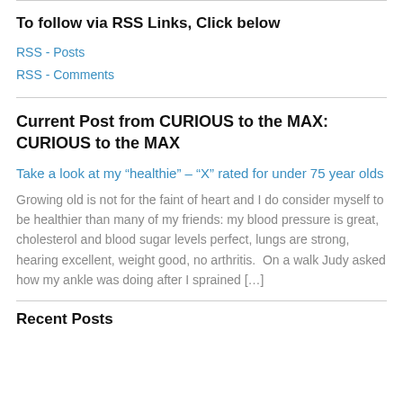To follow via RSS Links, Click below
RSS - Posts
RSS - Comments
Current Post from CURIOUS to the MAX: CURIOUS to the MAX
Take a look at my “healthie” – “X” rated for under 75 year olds
Growing old is not for the faint of heart and I do consider myself to be healthier than many of my friends: my blood pressure is great, cholesterol and blood sugar levels perfect, lungs are strong, hearing excellent, weight good, no arthritis.  On a walk Judy asked how my ankle was doing after I sprained […]
Recent Posts